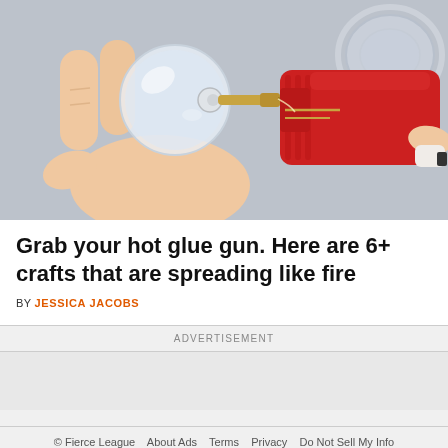[Figure (photo): A hand using a hot glue gun to apply glue to a clear crystal knob, with a glass bowl visible in the background on a gray surface.]
Grab your hot glue gun. Here are 6+ crafts that are spreading like fire
BY JESSICA JACOBS
ADVERTISEMENT
© Fierce League   About Ads   Terms   Privacy   Do Not Sell My Info